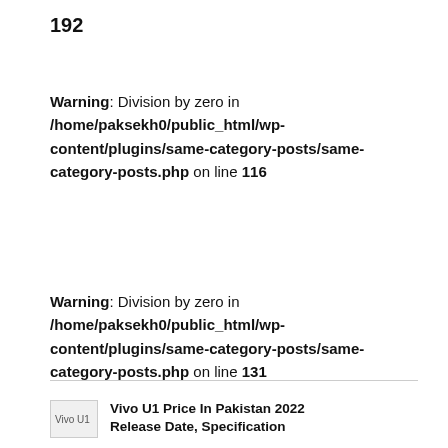192
Warning: Division by zero in /home/paksekh0/public_html/wp-content/plugins/same-category-posts/same-category-posts.php on line 116
Warning: Division by zero in /home/paksekh0/public_html/wp-content/plugins/same-category-posts/same-category-posts.php on line 131
[Figure (photo): Vivo U1 thumbnail image]
Vivo U1 Price In Pakistan 2022 Release Date, Specification